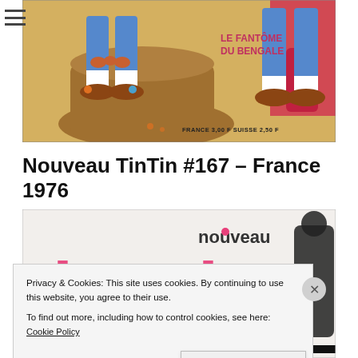[Figure (photo): Top portion of a Tintin comic magazine cover showing cartoon characters' legs and feet near a tree stump, with text 'LE FANTÔME DU BENGALE' in pink/red on the right side, and price 'FRANCE 3,00F  SUISSE 2,50F' at bottom right]
Nouveau TinTin #167 – France 1976
[Figure (photo): Bottom portion showing 'nouveau tintin' magazine masthead in large pink and dark letters on a light background]
Privacy & Cookies: This site uses cookies. By continuing to use this website, you agree to their use.
To find out more, including how to control cookies, see here: Cookie Policy
Close and accept